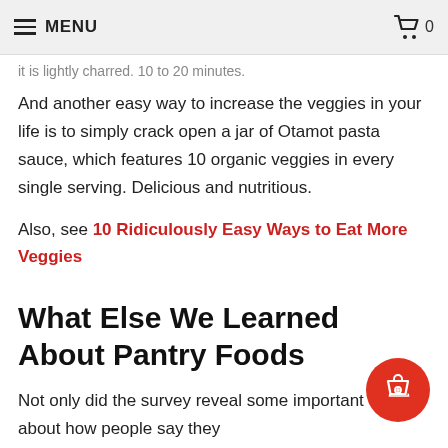MENU   🛒 0
it is lightly charred. 10 to 20 minutes.
And another easy way to increase the veggies in your life is to simply crack open a jar of Otamot pasta sauce, which features 10 organic veggies in every single serving. Delicious and nutritious.
Also, see 10 Ridiculously Easy Ways to Eat More Veggies
What Else We Learned About Pantry Foods
Not only did the survey reveal some important data about how people say they